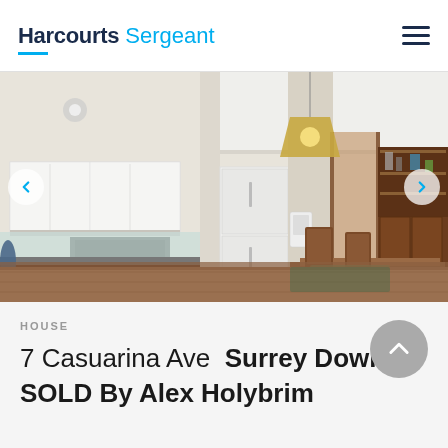Harcourts Sergeant
[Figure (photo): Interior photo of a kitchen and dining area with white cabinetry, a white double-door refrigerator, wooden dining table and chairs, and a wooden hutch/display cabinet in the background.]
HOUSE
7 Casuarina Ave Surrey Downs
SOLD By Alex Holybrim